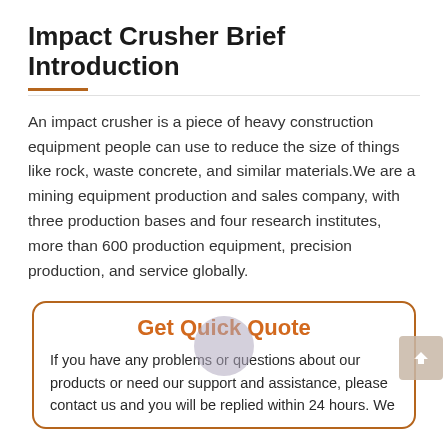Impact Crusher Brief Introduction
An impact crusher is a piece of heavy construction equipment people can use to reduce the size of things like rock, waste concrete, and similar materials.We are a mining equipment production and sales company, with three production bases and four research institutes, more than 600 production equipment, precision production, and service globally.
Get Quick Quote
If you have any problems or questions about our products or need our support and assistance, please contact us and you will be replied within 24 hours. We